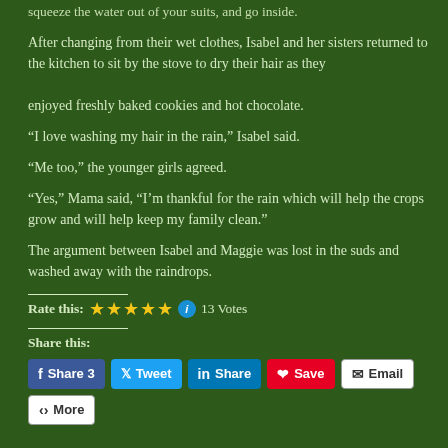squeeze the water out of your suits, and go inside.
After changing from their wet clothes, Isabel and her sisters returned to the kitchen to sit by the stove to dry their hair as they enjoyed freshly baked cookies and hot chocolate.
“I love washing my hair in the rain,” Isabel said.
“Me too,” the younger girls agreed.
“Yes,” Mama said, “I’m thankful for the rain which will help the crops grow and will help keep my family clean.”
The argument between Isabel and Maggie was lost in the suds and washed away with the raindrops.
Rate this: ★★★★★ 13 Votes
Share this:
Share 3  Tweet  Share  Save  Email  More